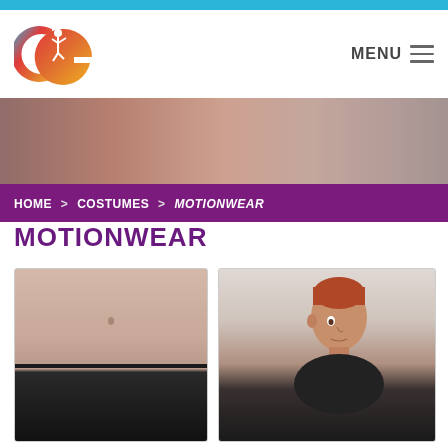[Figure (logo): CG dance company logo with colorful gradient letters C and G and a dancer silhouette]
MENU
[Figure (photo): Hero banner image with warm pinkish-brown blurred background]
HOME > COSTUMES > MOTIONWEAR
MOTIONWEAR
[Figure (photo): Close-up of woman's waist wearing black dance shorts/skirt]
[Figure (photo): Man with red hair wearing a black t-shirt, looking sideways]